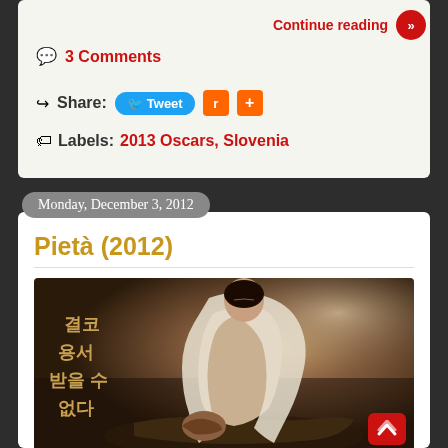Continue reading »
💬 3 Comments
Share: Tweet [reddit] [+]
Labels: 2013 Oscars, Slovenia
Monday, December 3, 2012
Pietà (2012)
[Figure (photo): Movie poster for Pietà (2012) showing a woman in white veil/lace garment cradling a man, with Korean text on the left side]